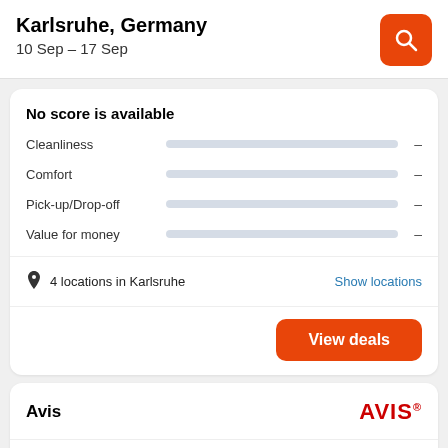Karlsruhe, Germany
10 Sep – 17 Sep
No score is available
Cleanliness –
Comfort –
Pick-up/Drop-off –
Value for money –
4 locations in Karlsruhe
Show locations
View deals
Avis
[Figure (logo): AVIS logo in red bold text]
No score is available